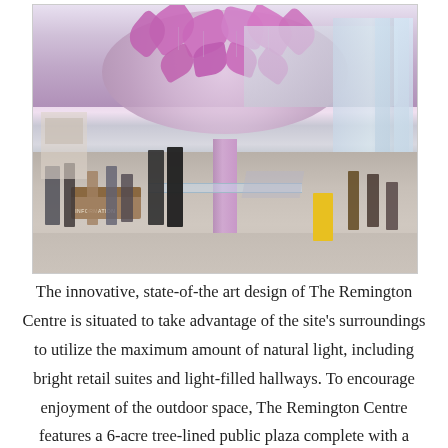[Figure (photo): Interior rendering of The Remington Centre shopping mall showing a large atrium with hanging pink/lavender floral sculpture suspended from the ceiling, an information desk, shoppers walking through the space, bright windows on the right side, and a mezzanine level visible in the background.]
The innovative, state-of-the art design of The Remington Centre is situated to take advantage of the site's surroundings to utilize the maximum amount of natural light, including bright retail suites and light-filled hallways. To encourage enjoyment of the outdoor space, The Remington Centre features a 6-acre tree-lined public plaza complete with a spectacular water fountain